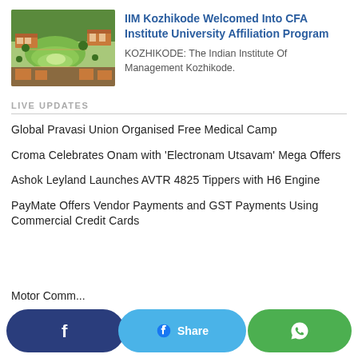[Figure (photo): Aerial view of IIM Kozhikode campus with green lawns and terracotta-roofed buildings]
IIM Kozhikode Welcomed Into CFA Institute University Affiliation Program
KOZHIKODE: The Indian Institute Of Management Kozhikode.
LIVE UPDATES
Global Pravasi Union Organised Free Medical Camp
Croma Celebrates Onam with 'Electronam Utsavam' Mega Offers
Ashok Leyland Launches AVTR 4825 Tippers with H6 Engine
PayMate Offers Vendor Payments and GST Payments Using Commercial Credit Cards
Motor Comm...